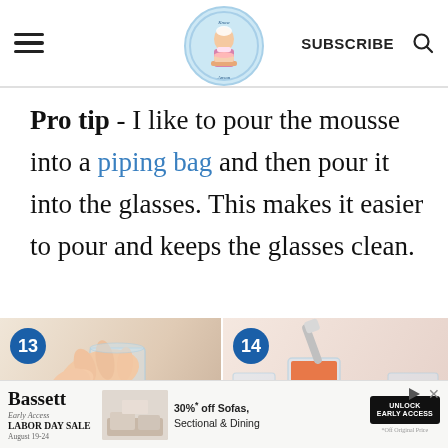Know Anson — SUBSCRIBE [search icon]
Pro tip - I like to pour the mousse into a piping bag and then pour it into the glasses. This makes it easier to pour and keeps the glasses clean.
[Figure (photo): Step 13: Close-up of hands gripping a glass, preparing to pour mousse]
[Figure (photo): Step 14: Piping bag being used to fill glasses with pink mousse, three glasses visible]
[Figure (other): Advertisement banner: Bassett Early Access Labor Day Sale August 19-24, 30% off Sofas, Sectionals & Dining, Unlock Early Access button]